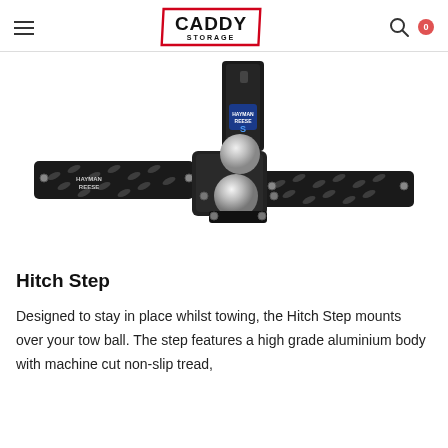CADDY STORAGE
[Figure (photo): A Hayman Reese Hitch Step product photo. The device is a black aluminium hitch step with diamond-plate non-slip tread on both sides, a tow ball mount in the center, and a vertical hitch receiver bar at the top. The Hayman Reese logo appears in blue on the hitch mount.]
Hitch Step
Designed to stay in place whilst towing, the Hitch Step mounts over your tow ball. The step features a high grade aluminium body with machine cut non-slip tread,